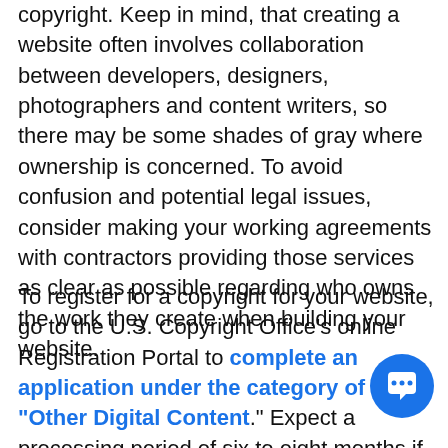copyright. Keep in mind, that creating a website often involves collaboration between developers, designers, photographers and content writers, so there may be some shades of gray where ownership is concerned. To avoid confusion and potential legal issues, consider making your working agreements with contractors providing those services as clear as possible regarding who owns the work they create when building your website.
To register for a copyright for your website, go to the U.S. Copyright Office's online Registration Portal to complete an application under the category of "Other Digital Content." Expect a processing period of six to eight months if you file online or eight to months if you file using a paper form. The fee fo filing Standard Application electronically in 2017 i
[Figure (other): Blue circular chat/message button icon in bottom right corner]